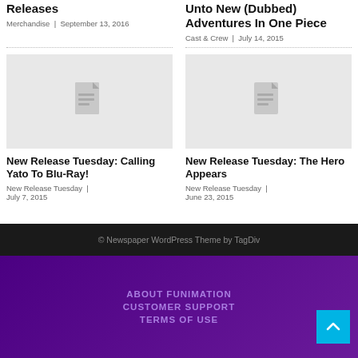Releases
Merchandise | September 13, 2016
Unto New (Dubbed) Adventures In One Piece
Cast & Crew | July 14, 2015
[Figure (illustration): Placeholder card image with document icon for New Release Tuesday: Calling Yato To Blu-Ray!]
New Release Tuesday: Calling Yato To Blu-Ray!
New Release Tuesday | July 7, 2015
[Figure (illustration): Placeholder card image with document icon for New Release Tuesday: The Hero Appears]
New Release Tuesday: The Hero Appears
New Release Tuesday | June 23, 2015
© Newspaper WordPress Theme by TagDiv
ABOUT FUNIMATION
CUSTOMER SUPPORT
TERMS OF USE